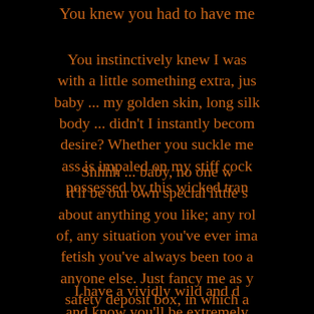You knew you had to have me
You instinctively knew I was with a little something extra, jus baby ... my golden skin, long silk body ... didn't I instantly becom desire? Whether you suckle me ass is impaled on my stiff cock possessed by this wicked tran
Shhhh ... baby, no one w it'll be our own special little s about anything you like; any rol of, any situation you've ever ima fetish you've always been too a anyone else. Just fancy me as y safety deposit box, in which a entrust with anything you need Share your experiences with me is content, and even if you don't in mind, just sit back, relax, a the fantasy's all c
I have a vividly wild and d and know you'll be extremely